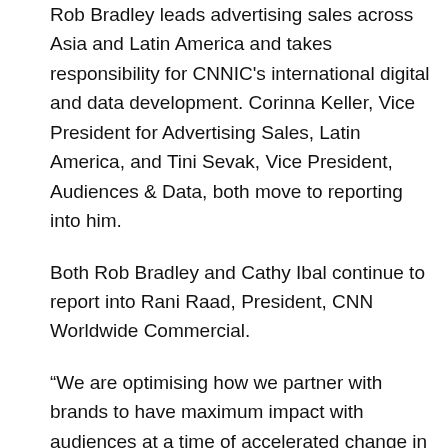Rob Bradley leads advertising sales across Asia and Latin America and takes responsibility for CNNIC's international digital and data development. Corinna Keller, Vice President for Advertising Sales, Latin America, and Tini Sevak, Vice President, Audiences & Data, both move to reporting into him.
Both Rob Bradley and Cathy Ibal continue to report into Rani Raad, President, CNN Worldwide Commercial.
“We are optimising how we partner with brands to have maximum impact with audiences at a time of accelerated change in both consumer behaviour and the way advertisers are connecting with customers,” said Rani Raad. “Cathy and Rob have an excellent track record in working collaboratively with clients and across CNN to develop and execute sophisticated campaigns that no other media can match. With this structure and strategy in place, we will connect brands with audiences like never